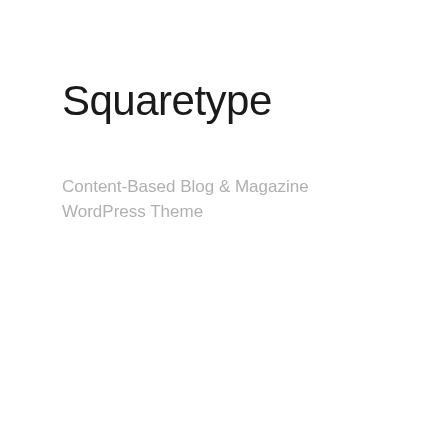Squaretype
Content-Based Blog & Magazine WordPress Theme